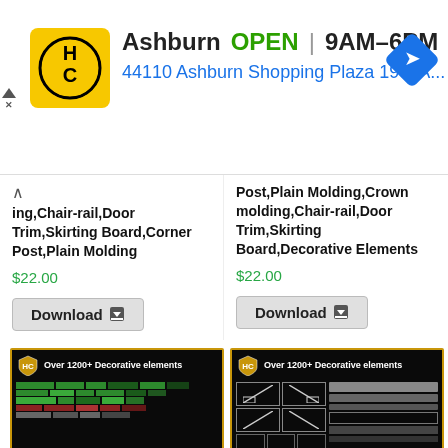[Figure (screenshot): Ad banner for HC store in Ashburn showing logo, OPEN status, hours 9AM-6PM, address 44110 Ashburn Shopping Plaza 190, A..., and navigation icon]
ing,Chair-rail,Door Trim,Skirting Board,Corner Post,Plain Molding
$22.00
Download
Post,Plain Molding,Crown molding,Chair-rail,Door Trim,Skirting Board,Decorative Elements
$22.00
Download
[Figure (screenshot): CAD drawing preview - dark background with green CAD elements showing decorative molding elements, Over 1200+ Decorative elements badge]
[Figure (screenshot): CAD drawing preview - dark background with white/grey CAD elements showing molding profiles and trims, Over 1200+ Decorative elements badge]